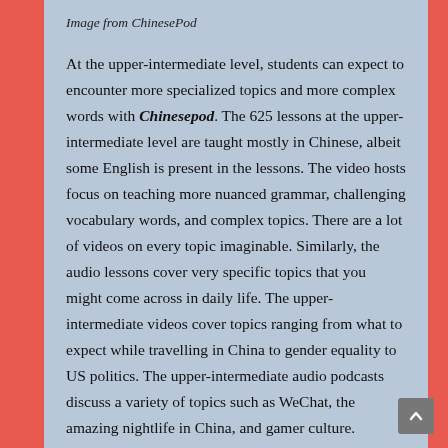Image from ChinesePod
At the upper-intermediate level, students can expect to encounter more specialized topics and more complex words with Chinesepod. The 625 lessons at the upper-intermediate level are taught mostly in Chinese, albeit some English is present in the lessons. The video hosts focus on teaching more nuanced grammar, challenging vocabulary words, and complex topics. There are a lot of videos on every topic imaginable. Similarly, the audio lessons cover very specific topics that you might come across in daily life. The upper-intermediate videos cover topics ranging from what to expect while travelling in China to gender equality to US politics. The upper-intermediate audio podcasts discuss a variety of topics such as WeChat, the amazing nightlife in China, and gamer culture.